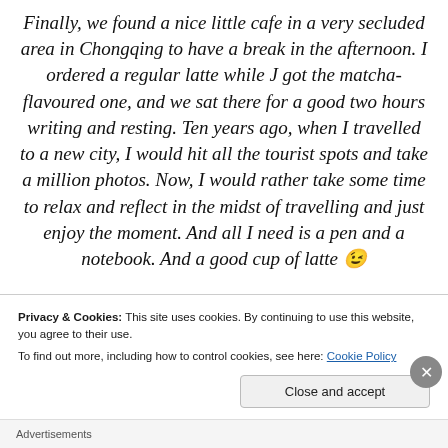Finally, we found a nice little cafe in a very secluded area in Chongqing to have a break in the afternoon. I ordered a regular latte while J got the matcha-flavoured one, and we sat there for a good two hours writing and resting. Ten years ago, when I travelled to a new city, I would hit all the tourist spots and take a million photos. Now, I would rather take some time to relax and reflect in the midst of travelling and just enjoy the moment. And all I need is a pen and a notebook. And a good cup of latte 😉
Privacy & Cookies: This site uses cookies. By continuing to use this website, you agree to their use.
To find out more, including how to control cookies, see here: Cookie Policy
Close and accept
Advertisements